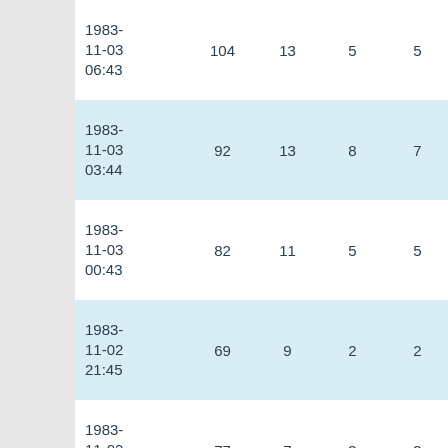| Date | Col1 | Col2 | Col3 | Col4 |
| --- | --- | --- | --- | --- |
| 1983-11-03 06:43 | 104 | 13 | 5 | 5 |
| 1983-11-03 03:44 | 92 | 13 | 8 | 7 |
| 1983-11-03 00:43 | 82 | 11 | 5 | 5 |
| 1983-11-02 21:45 | 69 | 9 | 2 | 2 |
| 1983-11-02 18:43 | 77 | 7 | 3 | 3 |
| 1983-11-02 15:44 | 95 | 13 | 10 | 5 |